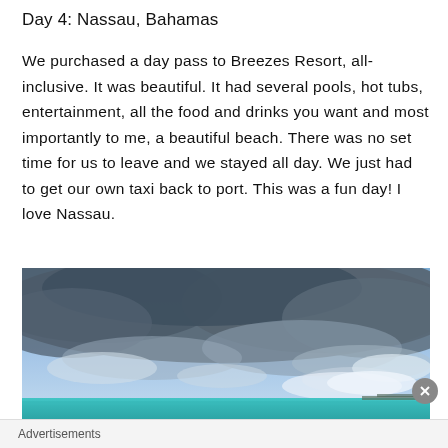Day 4: Nassau, Bahamas
We purchased a day pass to Breezes Resort, all-inclusive. It was beautiful. It had several pools, hot tubs, entertainment, all the food and drinks you want and most importantly to me, a beautiful beach. There was no set time for us to leave and we stayed all day. We just had to get our own taxi back to port. This was a fun day! I love Nassau.
[Figure (photo): Photograph of a turquoise ocean under a dramatic cloudy sky with dark storm clouds overhead and a thin strip of land visible on the horizon]
Advertisements